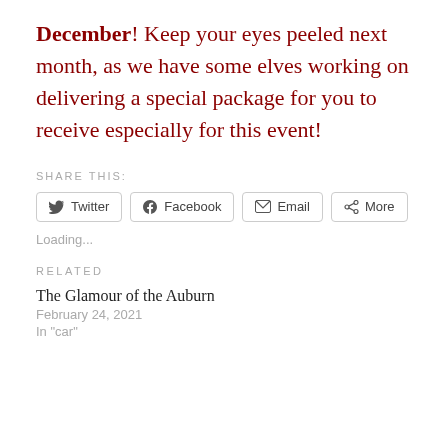December! Keep your eyes peeled next month, as we have some elves working on delivering a special package for you to receive especially for this event!
SHARE THIS:
Twitter  Facebook  Email  More
Loading...
RELATED
The Glamour of the Auburn
February 24, 2021
In "car"